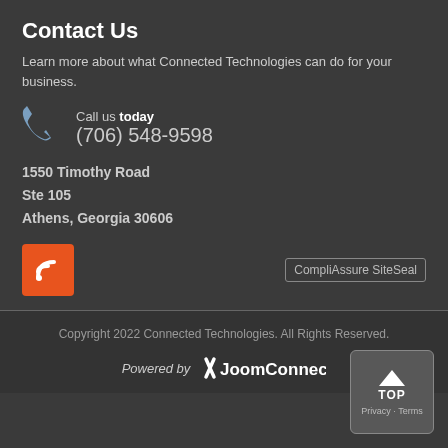Contact Us
Learn more about what Connected Technologies can do for your business.
Call us today
(706) 548-9598
1550 Timothy Road
Ste 105
Athens, Georgia 30606
[Figure (logo): RSS feed orange button icon]
[Figure (logo): CompliAssure SiteSeal badge]
Copyright 2022 Connected Technologies. All Rights Reserved.
Powered by JoomConnect
[Figure (other): TOP back-to-top button]